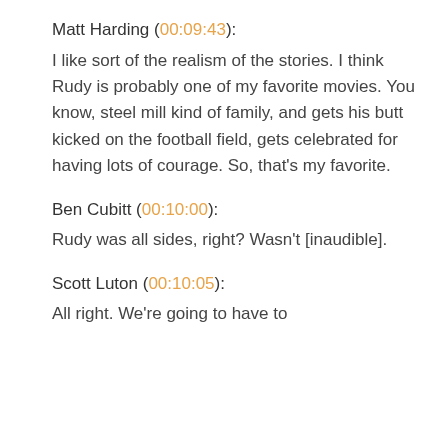Matt Harding (00:09:43):
I like sort of the realism of the stories. I think Rudy is probably one of my favorite movies. You know, steel mill kind of family, and gets his butt kicked on the football field, gets celebrated for having lots of courage. So, that’s my favorite.
Ben Cubitt (00:10:00):
Rudy was all sides, right? Wasn’t [inaudible].
Scott Luton (00:10:05):
All right. We’re going to have to